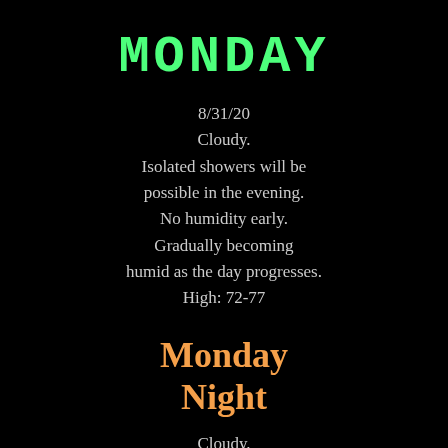MONDAY
8/31/20
Cloudy.
Isolated showers will be possible in the evening.
No humidity early.
Gradually becoming humid as the day progresses.
High: 72-77
Monday Night
Cloudy.
A few isolated showers possible.
Low: 62-67